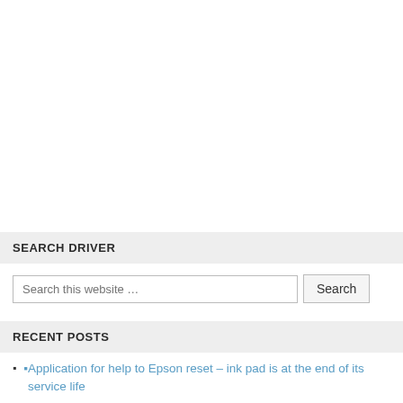SEARCH DRIVER
Search this website …
RECENT POSTS
Application for help to Epson reset – ink pad is at the end of its service life
Download Canon MX470 printer driver Windows & Mac OS
Download driver HP LaserJet 1100 se printer and install